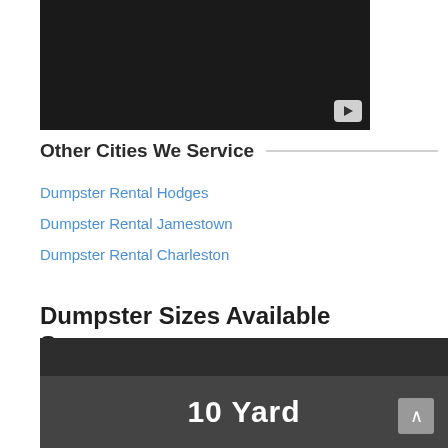[Figure (screenshot): Black video player thumbnail with a play button in the bottom-right corner]
Other Cities We Service
Dumpster Rental Hodges
Dumpster Rental Jamestown
Dumpster Rental Charleston
Dumpster Sizes Available Swansea
Get started in less than 60 seconds. Pick up the phone and get a quote now!
[Figure (screenshot): Dark grey card showing '10 Yard' label with a chevron/up arrow button on the right side]